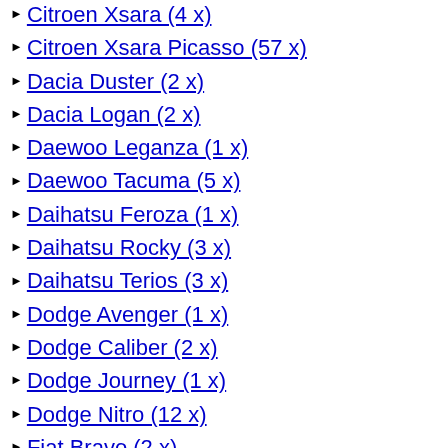Citroen Xsara (4 x)
Citroen Xsara Picasso (57 x)
Dacia Duster (2 x)
Dacia Logan (2 x)
Daewoo Leganza (1 x)
Daewoo Tacuma (5 x)
Daihatsu Feroza (1 x)
Daihatsu Rocky (3 x)
Daihatsu Terios (3 x)
Dodge Avenger (1 x)
Dodge Caliber (2 x)
Dodge Journey (1 x)
Dodge Nitro (12 x)
Fiat Bravo (2 x)